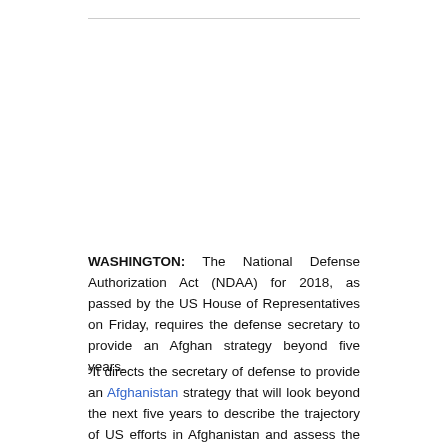WASHINGTON: The National Defense Authorization Act (NDAA) for 2018, as passed by the US House of Representatives on Friday, requires the defense secretary to provide an Afghan strategy beyond five years.
“It directs the secretary of defense to provide an Afghanistan strategy that will look beyond the next five years to describe the trajectory of US efforts in Afghanistan and assess the timeline and total resources necessary to achieve US